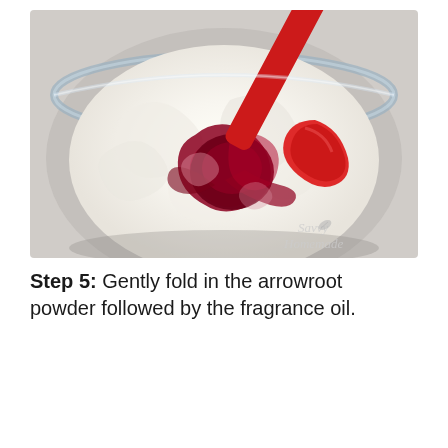[Figure (photo): A glass bowl containing white whipped or creamy mixture being stirred with a red silicone spatula. A dark red/burgundy liquid (colorant or fragrance) is being folded in, creating swirls of red and white. The bowl is viewed from above. A watermark 'Savvy Homemade' is visible in the bottom-right of the image.]
Step 5: Gently fold in the arrowroot powder followed by the fragrance oil.